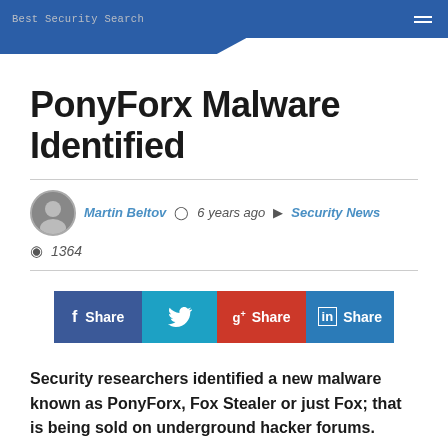Best Security Search
PonyForx Malware Identified
Martin Beltov  6 years ago  Security News
1364
[Figure (infographic): Social share bar with Facebook Share, Twitter, Google+ Share, and LinkedIn Share buttons]
Security researchers identified a new malware known as PonyForx, Fox Stealer or just Fox; that is being sold on underground hacker forums.